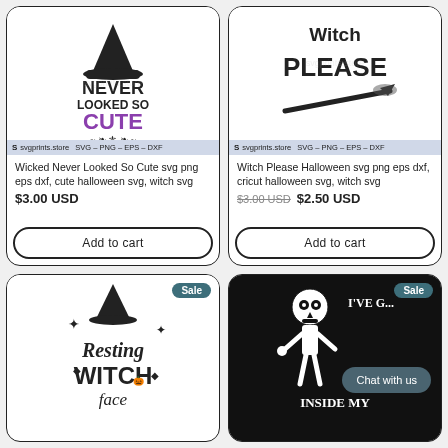[Figure (illustration): SVG design: 'Wicked Never Looked So Cute' with witch hat, text in black and purple, on white background. svgprints.store watermark bar at bottom.]
Wicked Never Looked So Cute svg png eps dxf, cute halloween svg, witch svg
$3.00 USD
Add to cart
[Figure (illustration): SVG design: 'Witch Please' in bold stylized text with broom, on white background. svgprints.store watermark bar at bottom.]
Witch Please Halloween svg png eps dxf, cricut halloween svg, witch svg
$3.00 USD  $2.50 USD
Add to cart
[Figure (illustration): SVG design: 'Resting Witch Face' with witch hat and sparkle diamonds, on white background. Sale badge shown.]
[Figure (illustration): SVG design: Skeleton with text 'I've Got You Under My Skin / Inside My...' on dark background. Sale badge and Chat with us bubble shown.]